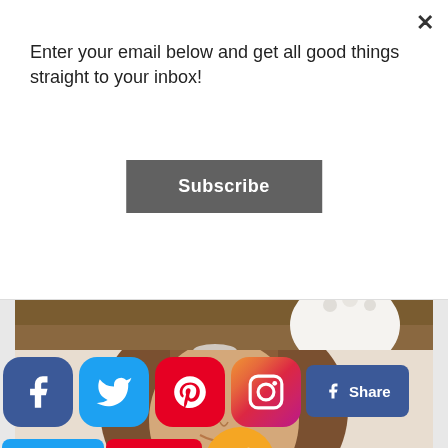Enter your email below and get all good things straight to your inbox!
[Figure (other): Subscribe button (dark gray rounded rectangle)]
[Figure (photo): Photo of home decor items: white vase, silver candle holder, and chain decorative links on stacked white books on a wooden table]
[Figure (photo): Partial photo of a woman with brown hair smiling, cropped at forehead level]
[Figure (other): Social share bar with Facebook, Twitter, Pinterest, Instagram icon buttons and Share, Tweet, Save labeled buttons, plus a more/share orange button]